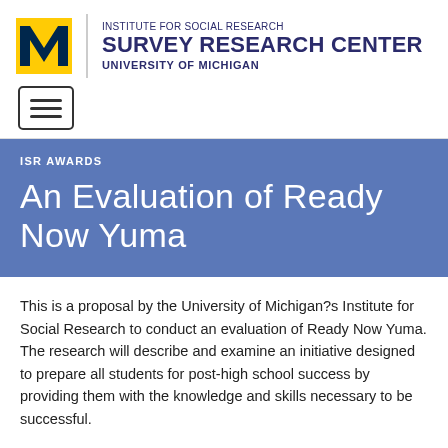[Figure (logo): University of Michigan Institute for Social Research Survey Research Center logo with yellow M block letter and dark blue text]
[Figure (other): Hamburger menu toggle button with three horizontal lines inside a rounded rectangle border]
ISR AWARDS
An Evaluation of Ready Now Yuma
This is a proposal by the University of Michigan?s Institute for Social Research to conduct an evaluation of Ready Now Yuma. The research will describe and examine an initiative designed to prepare all students for post-high school success by providing them with the knowledge and skills necessary to be successful.